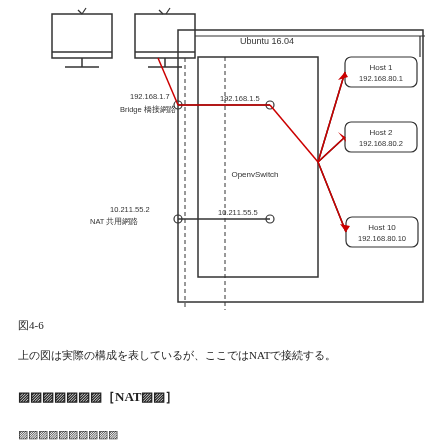[Figure (network-graph): Network diagram showing two computers on the left connected to an Ubuntu 16.04 virtual machine environment. Inside Ubuntu, there is a Bridge adapter (192.168.1.7 / 192.168.1.5) and a NAT shared adapter (10.211.55.2 / 10.211.55.5) connected to an OpenvSwitch. The switch connects to Host 1 (192.168.80.1), Host 2 (192.168.80.2), and Host 10 (192.168.80.10) with red and black lines.]
図4-6
上の図は実際の構成を表しているが、ここではNATで接続する。
フローテーブル[ NAT変換 ]
以下のフローを投入する